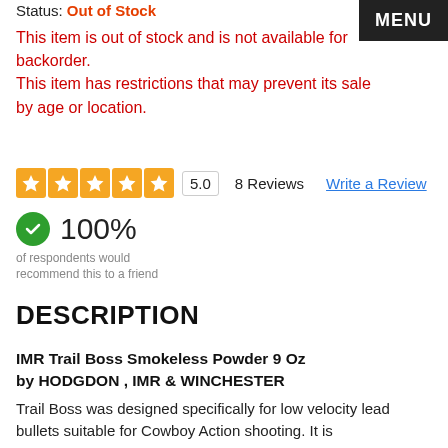MENU
Status: Out of Stock
This item is out of stock and is not available for backorder.
This item has restrictions that may prevent its sale by age or location.
[Figure (other): Five orange star rating boxes with white stars, rating box showing 5.0, followed by '8 Reviews' and 'Write a Review' link]
100%
of respondents would recommend this to a friend
DESCRIPTION
IMR Trail Boss Smokeless Powder 9 Oz by HODGDON , IMR & WINCHESTER
Trail Boss was designed specifically for low velocity lead bullets suitable for Cowboy Action shooting. It is